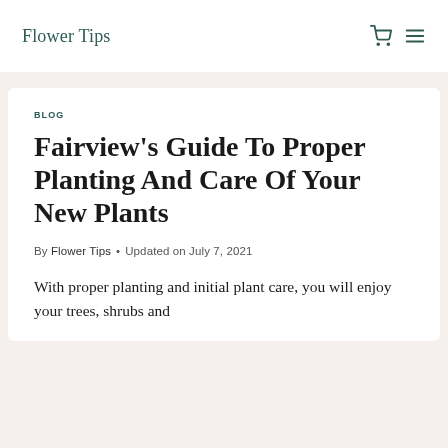Flower Tips
BLOG
Fairview’s Guide To Proper Planting And Care Of Your New Plants
By Flower Tips • Updated on July 7, 2021
With proper planting and initial plant care, you will enjoy your trees, shrubs and